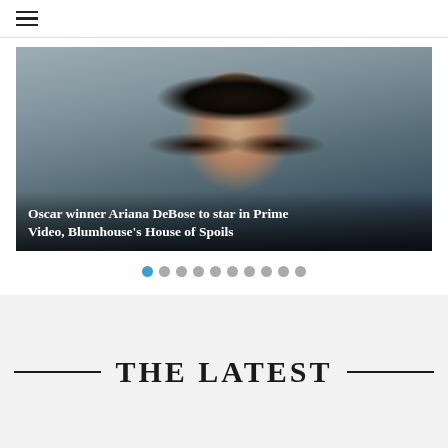☰ (hamburger menu icon)
[Figure (photo): Portrait photo of Ariana DeBose, a Black woman with dark hair swept up, wearing dramatic eye makeup and a chandelier earring, against a gray background. Overlay text reads: Oscar winner Ariana DeBose to star in Prime Video, Blumhouse's House of Spoils]
Oscar winner Ariana DeBose to star in Prime Video, Blumhouse's House of Spoils
THE LATEST